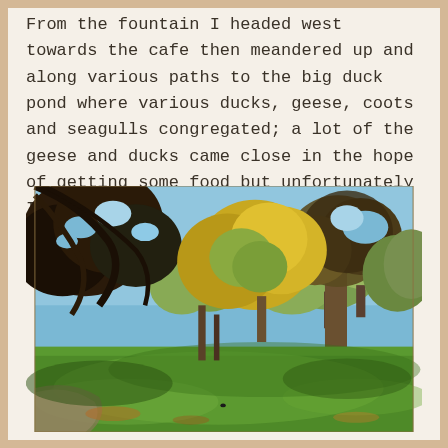From the fountain I headed west towards the cafe then meandered up and along various paths to the big duck pond where various ducks, geese, coots and seagulls congregated; a lot of the geese and ducks came close in the hope of getting some food but unfortunately I had nothing for them.
[Figure (photo): A sunny autumn park scene with large trees showing green and yellow-orange foliage, a broad green lawn in the foreground, a path visible on the left, and a bright blue sky peeking through the tree canopy.]